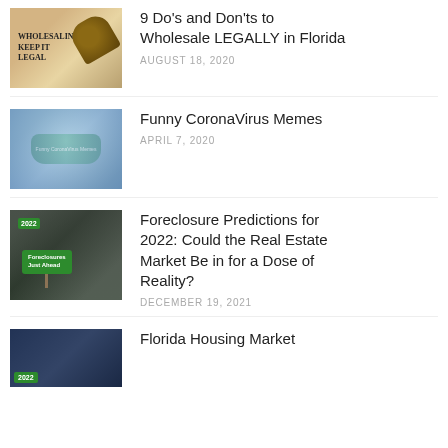[Figure (photo): Image of legal document with text 'WHOLESALING FROM A KEEP IT LEGAL' and a gavel on wooden surface]
9 Do's and Don'ts to Wholesale LEGALLY in Florida
AUGUST 18, 2020
[Figure (photo): Hands holding a teal/blue face mask, possibly with text on it related to Funny CoronaVirus Memes]
Funny CoronaVirus Memes
APRIL 7, 2020
[Figure (photo): Green road sign reading '2022 Foreclosures Just Ahead' held up against a background of flying money bills]
Foreclosure Predictions for 2022: Could the Real Estate Market Be in for a Dose of Reality?
DECEMBER 19, 2021
[Figure (photo): Person in suit holding something with a green 2022 badge, related to Florida Housing Market]
Florida Housing Market